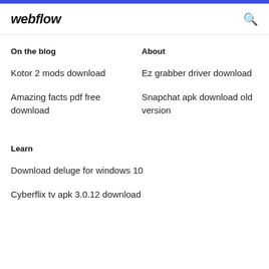webflow
On the blog
About
Kotor 2 mods download
Amazing facts pdf free download
Ez grabber driver download
Snapchat apk download old version
Learn
Download deluge for windows 10
Cyberflix tv apk 3.0.12 download